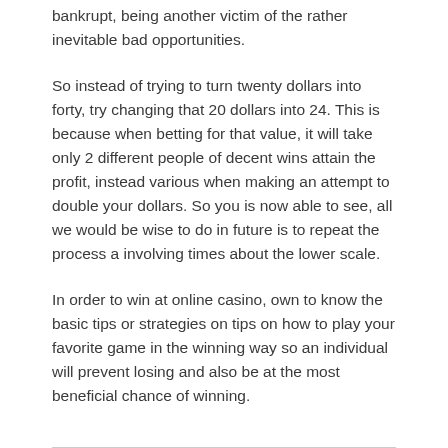bankrupt, being another victim of the rather inevitable bad opportunities.
So instead of trying to turn twenty dollars into forty, try changing that 20 dollars into 24. This is because when betting for that value, it will take only 2 different people of decent wins attain the profit, instead various when making an attempt to double your dollars. So you is now able to see, all we would be wise to do in future is to repeat the process a involving times about the lower scale.
In order to win at online casino, own to know the basic tips or strategies on tips on how to play your favorite game in the winning way so an individual will prevent losing and also be at the most beneficial chance of winning.